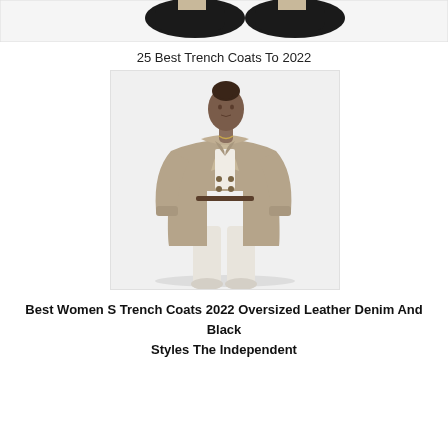[Figure (photo): Cropped top portion of a fashion photo showing black shoes/feet against a white background]
25 Best Trench Coats To 2022
[Figure (photo): A woman wearing a long beige double-breasted trench coat over white outfit, standing against a white background]
Best Women S Trench Coats 2022 Oversized Leather Denim And Black Styles The Independent